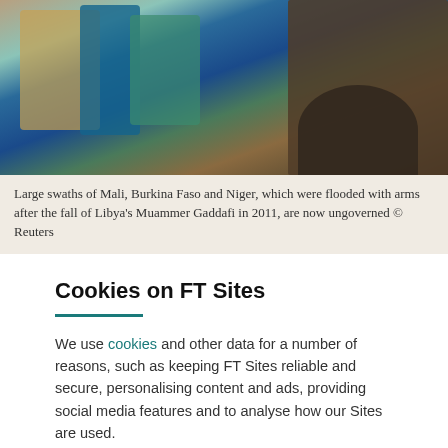[Figure (photo): People standing near a vehicle, colorful clothing, outdoor scene in Mali/Burkina Faso/Niger region]
Large swaths of Mali, Burkina Faso and Niger, which were flooded with arms after the fall of Libya's Muammer Gaddafi in 2011, are now ungoverned © Reuters
Cookies on FT Sites
We use cookies and other data for a number of reasons, such as keeping FT Sites reliable and secure, personalising content and ads, providing social media features and to analyse how our Sites are used.
Manage cookies
Accept & continue